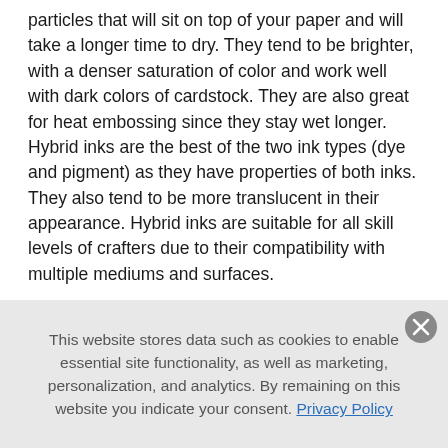particles that will sit on top of your paper and will take a longer time to dry. They tend to be brighter, with a denser saturation of color and work well with dark colors of cardstock. They are also great for heat embossing since they stay wet longer. Hybrid inks are the best of the two ink types (dye and pigment) as they have properties of both inks. They also tend to be more translucent in their appearance. Hybrid inks are suitable for all skill levels of crafters due to their compatibility with multiple mediums and surfaces.
What are color families?
This website stores data such as cookies to enable essential site functionality, as well as marketing, personalization, and analytics. By remaining on this website you indicate your consent. Privacy Policy